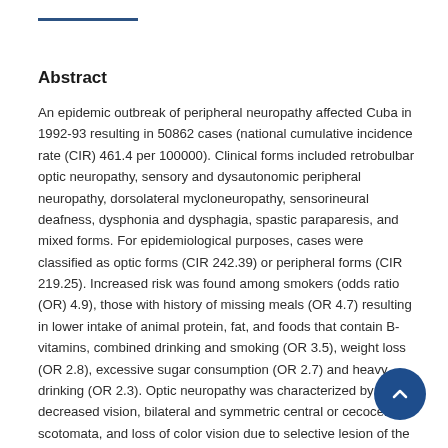Abstract
An epidemic outbreak of peripheral neuropathy affected Cuba in 1992-93 resulting in 50862 cases (national cumulative incidence rate (CIR) 461.4 per 100000). Clinical forms included retrobulbar optic neuropathy, sensory and dysautonomic peripheral neuropathy, dorsolateral mycloneuropathy, sensorineural deafness, dysphonia and dysphagia, spastic paraparesis, and mixed forms. For epidemiological purposes, cases were classified as optic forms (CIR 242.39) or peripheral forms (CIR 219.25). Increased risk was found among smokers (odds ratio (OR) 4.9), those with history of missing meals (OR 4.7) resulting in lower intake of animal protein, fat, and foods that contain B-vitamins, combined drinking and smoking (OR 3.5), weight loss (OR 2.8), excessive sugar consumption (OR 2.7) and heavy drinking (OR 2.3). Optic neuropathy was characterized by decreased vision, bilateral and symmetric central or cecocentral scotomata, and loss of color vision due to selective lesion of the maculopapillary bundles. Peripheral neuropathy was a distal